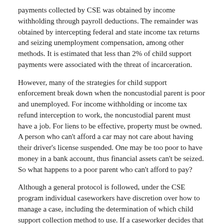payments collected by CSE was obtained by income withholding through payroll deductions. The remainder was obtained by intercepting federal and state income tax returns and seizing unemployment compensation, among other methods. It is estimated that less than 2% of child support payments were associated with the threat of incarceration.
However, many of the strategies for child support enforcement break down when the noncustodial parent is poor and unemployed. For income withholding or income tax refund interception to work, the noncustodial parent must have a job. For liens to be effective, property must be owned. A person who can't afford a car may not care about having their driver's license suspended. One may be too poor to have money in a bank account, thus financial assets can't be seized. So what happens to a poor parent who can't afford to pay?
Although a general protocol is followed, under the CSE program individual caseworkers have discretion over how to manage a case, including the determination of which child support collection method to use. If a caseworker decides that an appropriate amount of time has been spent trying to get a noncustodial parent to pay outstanding child support, they usually have the authority to request the issuance of a warrant to bring that parent before a judge. Sometimes caseworkers use subpoenas instead of warrants.